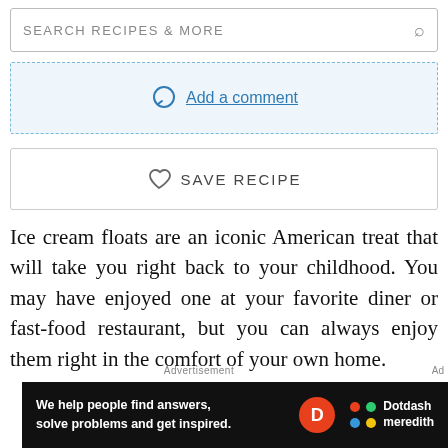SEARCH RECIPES & MORE
Add a comment
SAVE RECIPE
Ice cream floats are an iconic American treat that will take you right back to your childhood. You may have enjoyed one at your favorite diner or fast-food restaurant, but you can always enjoy them right in the comfort of your own home.
Advertisement
[Figure (other): Dotdash Meredith advertisement banner with text: We help people find answers, solve problems and get inspired.]